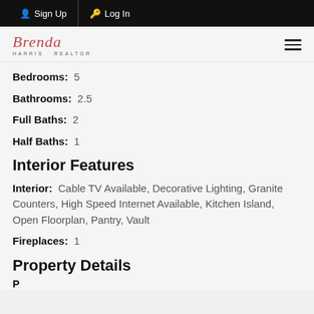Sign Up  Log In
[Figure (logo): Brenda realtor script logo in red/pink cursive with subtitle text]
Bedrooms: 5
Bathrooms: 2.5
Full Baths: 2
Half Baths: 1
Interior Features
Interior: Cable TV Available, Decorative Lighting, Granite Counters, High Speed Internet Available, Kitchen Island, Open Floorplan, Pantry, Vault
Fireplaces: 1
Property Details